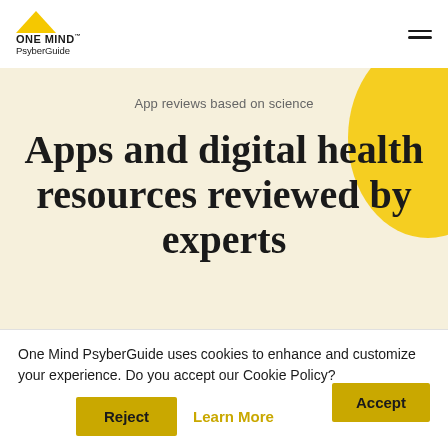[Figure (logo): One Mind PsyberGuide logo with yellow triangle above bold text ONE MIND and PsyberGuide]
App reviews based on science
Apps and digital health resources reviewed by experts
Explore Mental Health Resources
Find Mental Health Apps
One Mind PsyberGuide uses cookies to enhance and customize your experience. Do you accept our Cookie Policy?
Accept
Reject
Learn More